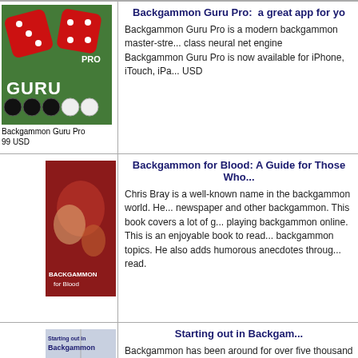[Figure (illustration): Backgammon Guru Pro app icon: green backgammon board background with two large red dice, text GURU and PRO]
Backgammon Guru Pro
99 USD
Backgammon Guru Pro:  a great app for yo...
Backgammon Guru Pro is a modern backgammon master-stre... class neural net engine
Backgammon Guru Pro is now available for iPhone, iTouch, iPa... USD
[Figure (illustration): Book cover: Backgammon for Blood - dark red cover with abstract imagery]
Backgammon for Blood: A Guide for Those Wh...
Chris Bray is a well-known name in the backgammon world. He... newspaper and other backgammon. This book covers a lot of g... playing backgammon online. This is an enjoyable book to read... backgammon topics. He also adds humorous anecdotes throug... read.
[Figure (illustration): Book cover: Starting out in Backgammon - light colored cover with backgammon pieces]
Starting out in Backgam...
Backgammon has been around for over five thousand years. A... dice and there is some element of luck, backgammon is predom... the better backgammon player will always win. Once in a blue m... odd game against a world champion. In this introduction to bac... Lamford teaches backgammon beginners the essentials of play...
Site Map  Gin rummy here and in Las Vegas  Play gin online  Cribbage online  P...
Play backgammon  Forum  Skill games online  No gambling!
GameColony you can play online tournaments in 22 multiplayer games of skill. You'll find here a thriving... and are engaged in  healthy   non-gambling  skill-based competition -- either for prizes or for free.
Privacy Policy